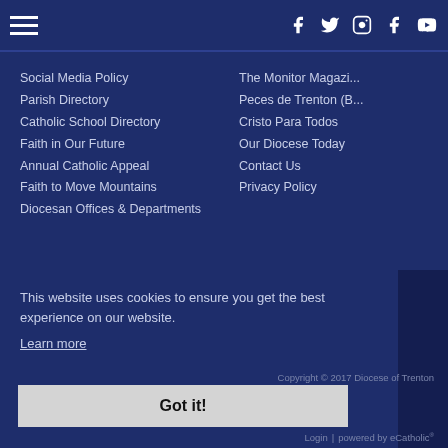Navigation bar with hamburger menu and social media icons: Facebook, Twitter, Instagram, Facebook, YouTube
Social Media Policy
Parish Directory
Catholic School Directory
Faith in Our Future
Annual Catholic Appeal
Faith to Move Mountains
Diocesan Offices & Departments
The Monitor Magazi...
Peces de Trenton (B...
Cristo Para Todos
Our Diocese Today
Contact Us
Privacy Policy
This website uses cookies to ensure you get the best experience on our website.
Learn more
Got it!
Copyright © 2017 Diocese of Trenton
Login | powered by eCatholic®